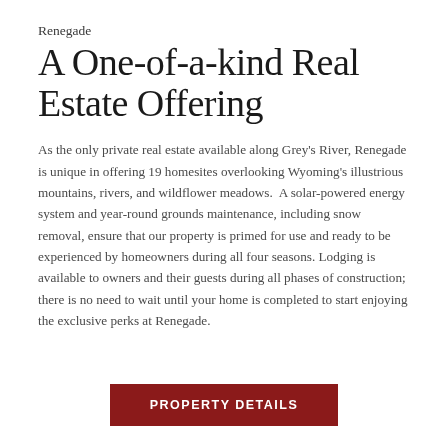Renegade
A One-of-a-kind Real Estate Offering
As the only private real estate available along Grey's River, Renegade is unique in offering 19 homesites overlooking Wyoming's illustrious mountains, rivers, and wildflower meadows.  A solar-powered energy system and year-round grounds maintenance, including snow removal, ensure that our property is primed for use and ready to be experienced by homeowners during all four seasons. Lodging is available to owners and their guests during all phases of construction; there is no need to wait until your home is completed to start enjoying the exclusive perks at Renegade.
PROPERTY DETAILS